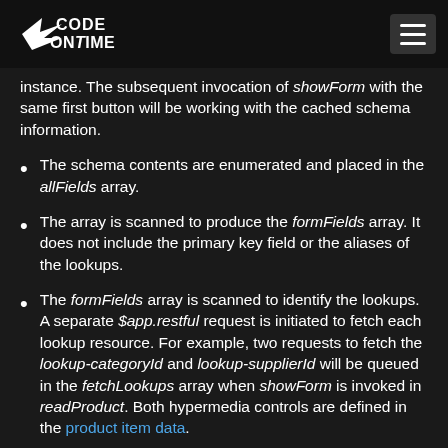Code On Time
instance. The subsequent invocation of showForm with the same first button will be working with the cached schema information.
The schema contents are enumerated and placed in the allFields array.
The array is scanned to produce the formFields array. It does not include the primary key field or the aliases of the lookups.
The formFields array is scanned to identify the lookups. A separate $app.restful request is initiated to fetch each lookup resource. For example, two requests to fetch the lookup-categoryId and lookup-supplierId will be queued in the fetchLookups array when showForm is invoked in readProduct. Both hypermedia controls are defined in the product item data.